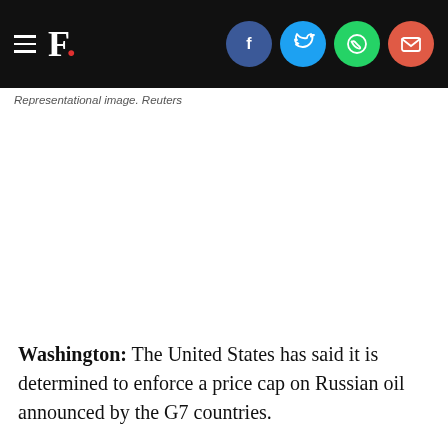F. [Firstpost logo with hamburger menu and social share icons: Facebook, Twitter, WhatsApp, Email]
Representational image. Reuters
Washington: The United States has said it is determined to enforce a price cap on Russian oil announced by the G7 countries.
“A price cap on Russia oil is a powerful tool – one part of the